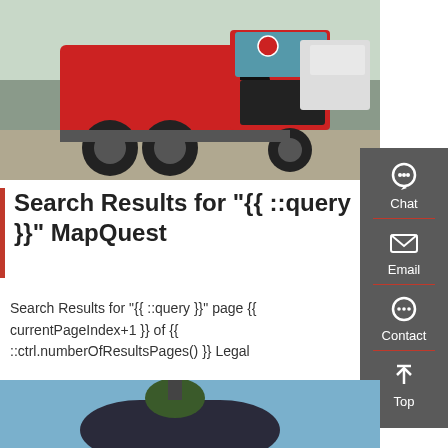[Figure (photo): Red heavy truck/tractor unit (cab-over) parked in a lot with white trucks in background]
Search Results for "{{ ::query }}" MapQuest
Search Results for "{{ ::query }}" page {{ currentPageIndex+1 }} of {{ ::ctrl.numberOfResultsPages() }} Legal
Get a Quote
[Figure (photo): Partial view of another vehicle/truck against a blue sky background]